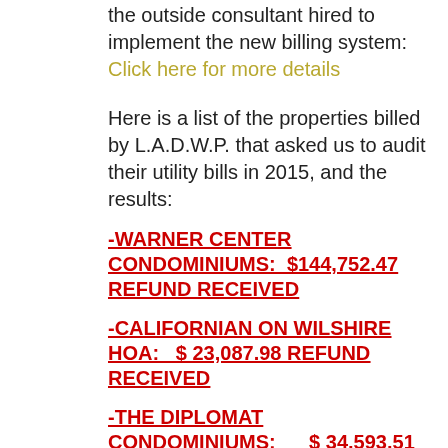the outside consultant hired to implement the new billing system: Click here for more details
Here is a list of the properties billed by L.A.D.W.P. that asked us to audit their utility bills in 2015, and the results:
-WARNER CENTER CONDOMINIUMS:  $144,752.47 REFUND RECEIVED
-CALIFORNIAN ON WILSHIRE HOA:   $ 23,087.98 REFUND RECEIVED
-THE DIPLOMAT CONDOMINIUMS:   _$ 34,593.51 REFUND RECEIVED
-THE WILSHIRE HOA: